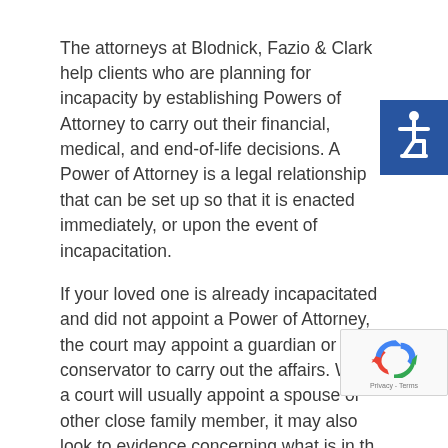The attorneys at Blodnick, Fazio & Clark help clients who are planning for incapacity by establishing Powers of Attorney to carry out their financial, medical, and end-of-life decisions. A Power of Attorney is a legal relationship that can be set up so that it is enacted immediately, or upon the event of incapacitation.
[Figure (illustration): Blue square badge with white wheelchair accessibility icon (ISA symbol)]
If your loved one is already incapacitated and did not appoint a Power of Attorney, the court may appoint a guardian or conservator to carry out the affairs. While a court will usually appoint a spouse or other close family member, it may also look to evidence concerning what is in the incapacitated person's wishes and best interests.
[Figure (logo): Google reCAPTCHA badge with rotating arrows logo and Privacy - Terms text]